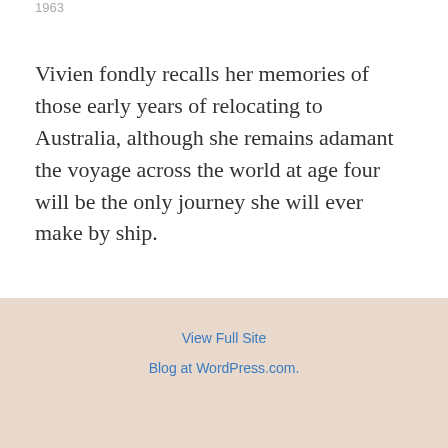1963
Vivien fondly recalls her memories of those early years of relocating to Australia, although she remains adamant the voyage across the world at age four will be the only journey she will ever make by ship.
**********
December 10, 2016
3 Replies
View Full Site
Blog at WordPress.com.